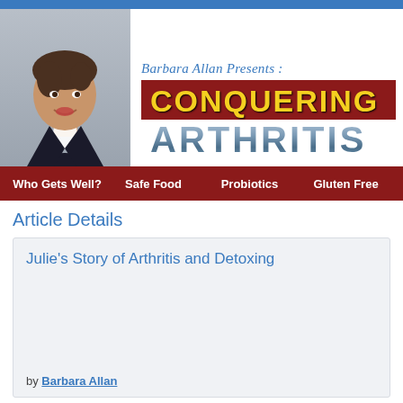[Figure (photo): Photo of Barbara Allan, a smiling woman in a dark blazer, cropped headshot in the header area]
Barbara Allan Presents :
CONQUERING ARTHRITIS
Who Gets Well?  Safe Food  Probiotics  Gluten Free
Article Details
Julie's Story of Arthritis and Detoxing
by Barbara Allan